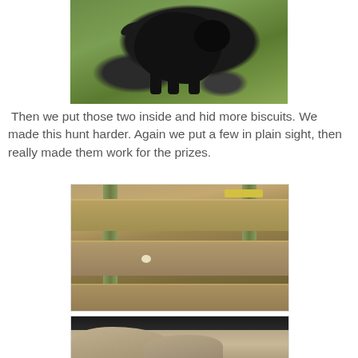[Figure (photo): A black dog sniffing the ground on green grass, viewed from the side]
Then we put those two inside and hid more biscuits. We made this hunt harder. Again we put a few in plain sight, then really made them work for the prizes.
[Figure (photo): Wooden outdoor stairs/steps with a biscuit hidden underneath one of the steps, mulch visible underneath]
[Figure (photo): Partial view of rocks or stone surface, bottom of image cropped]